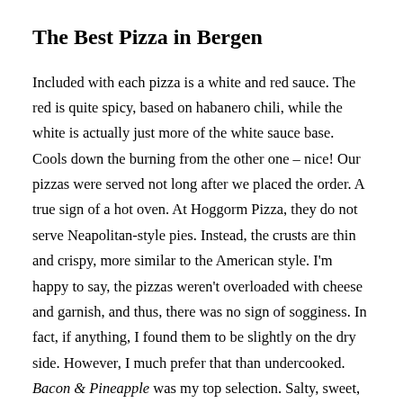The Best Pizza in Bergen
Included with each pizza is a white and red sauce. The red is quite spicy, based on habanero chili, while the white is actually just more of the white sauce base. Cools down the burning from the other one – nice! Our pizzas were served not long after we placed the order. A true sign of a hot oven. At Hoggorm Pizza, they do not serve Neapolitan-style pies. Instead, the crusts are thin and crispy, more similar to the American style. I'm happy to say, the pizzas weren't overloaded with cheese and garnish, and thus, there was no sign of sogginess. In fact, if anything, I found them to be slightly on the dry side. However, I much prefer that than undercooked. Bacon & Pineapple was my top selection. Salty, sweet, and acidic – what's